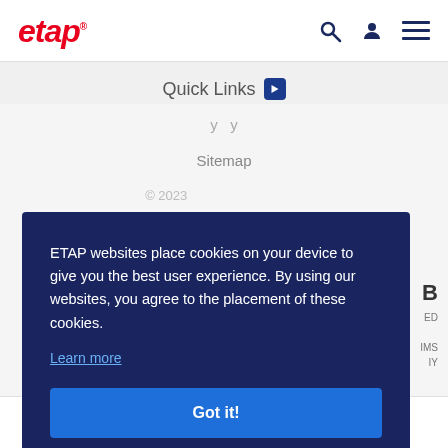etap [logo] with search, user, menu icons
Quick Links
y y
Sitemap
© 2023 [partial copyright text]
ETAP websites place cookies on your device to give you the best user experience. By using our websites, you agree to the placement of these cookies. Learn more
Got it!
in  f  [twitter]  [email]  +